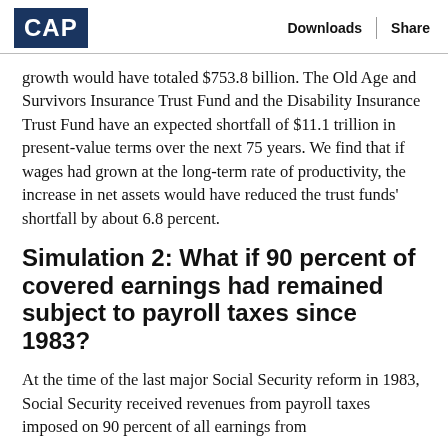CAP | Downloads | Share
growth would have totaled $753.8 billion. The Old Age and Survivors Insurance Trust Fund and the Disability Insurance Trust Fund have an expected shortfall of $11.1 trillion in present-value terms over the next 75 years. We find that if wages had grown at the long-term rate of productivity, the increase in net assets would have reduced the trust funds' shortfall by about 6.8 percent.
Simulation 2: What if 90 percent of covered earnings had remained subject to payroll taxes since 1983?
At the time of the last major Social Security reform in 1983, Social Security received revenues from payroll taxes imposed on 90 percent of all earnings from